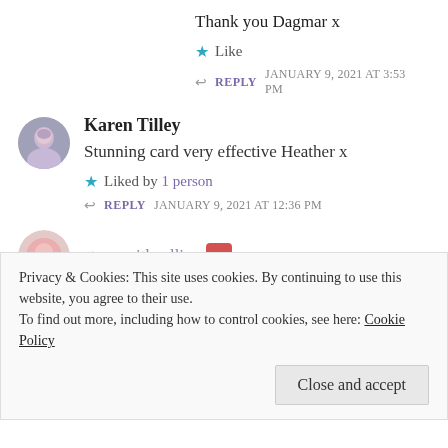Thank you Dagmar x
Like
REPLY  JANUARY 9, 2021 AT 3:53 PM
Karen Tilley
Stunning card very effective Heather x
Liked by 1 person
REPLY  JANUARY 9, 2021 AT 12:36 PM
stamewithpellie
Privacy & Cookies: This site uses cookies. By continuing to use this website, you agree to their use.
To find out more, including how to control cookies, see here: Cookie Policy
Close and accept